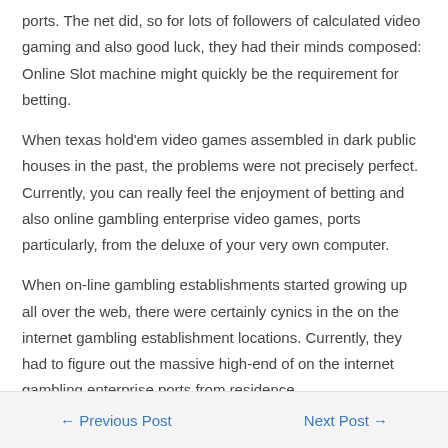ports. The net did, so for lots of followers of calculated video gaming and also good luck, they had their minds composed: Online Slot machine might quickly be the requirement for betting.
When texas hold'em video games assembled in dark public houses in the past, the problems were not precisely perfect. Currently, you can really feel the enjoyment of betting and also online gambling enterprise video games, ports particularly, from the deluxe of your very own computer.
When on-line gambling establishments started growing up all over the web, there were certainly cynics in the on the internet gambling establishment locations. Currently, they had to figure out the massive high-end of on the internet gambling enterprise ports from residence.
← Previous Post    Next Post →